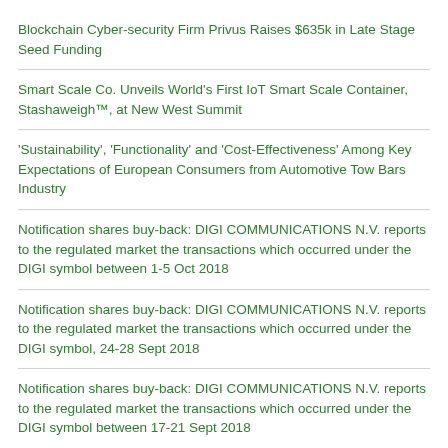Blockchain Cyber-security Firm Privus Raises $635k in Late Stage Seed Funding
Smart Scale Co. Unveils World's First IoT Smart Scale Container, Stashaweigh™, at New West Summit
'Sustainability', 'Functionality' and 'Cost-Effectiveness' Among Key Expectations of European Consumers from Automotive Tow Bars Industry
Notification shares buy-back: DIGI COMMUNICATIONS N.V. reports to the regulated market the transactions which occurred under the DIGI symbol between 1-5 Oct 2018
Notification shares buy-back: DIGI COMMUNICATIONS N.V. reports to the regulated market the transactions which occurred under the DIGI symbol, 24-28 Sept 2018
Notification shares buy-back: DIGI COMMUNICATIONS N.V. reports to the regulated market the transactions which occurred under the DIGI symbol between 17-21 Sept 2018